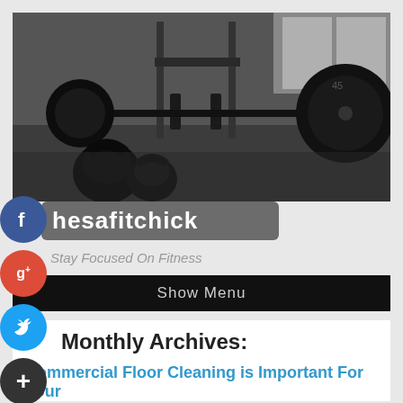[Figure (photo): Black and white photo of a gym floor showing kettlebells and a barbell with large weight plates]
hesafitchick
Stay Focused On Fitness
Show Menu
Monthly Archives:
Commercial Floor Cleaning is Important For Your